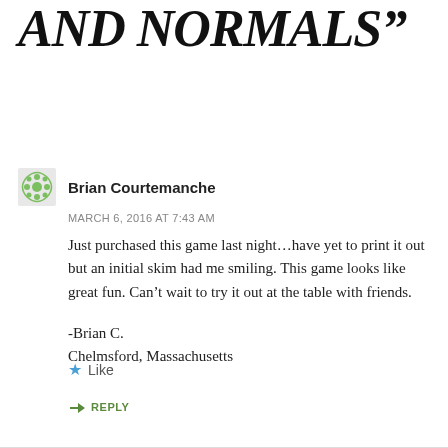AND NORMALS”
Brian Courtemanche
MARCH 6, 2016 AT 7:43 AM
Just purchased this game last night…have yet to print it out but an initial skim had me smiling. This game looks like great fun. Can’t wait to try it out at the table with friends.
-Brian C.
Chelmsford, Massachusetts
Like
REPLY